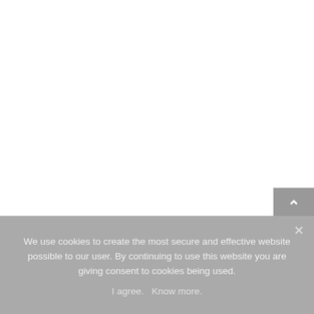We use cookies to create the most secure and effective website possible to our user. By continuing to use this website you are giving consent to cookies being used.
I agree.   Know more.